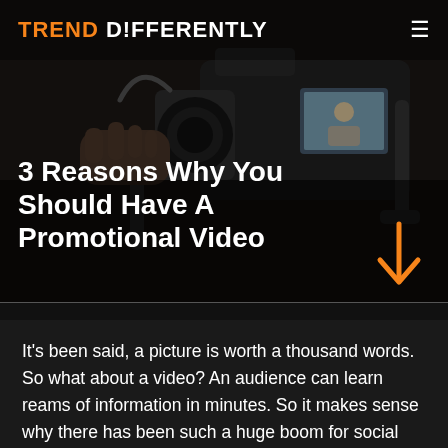[Figure (photo): Dark background photo of a professional camera on a gimbal stabilizer, showing the camera display screen with an image of a person]
TREND d!FFERENTLY
3 Reasons Why You Should Have A Promotional Video
It's been said, a picture is worth a thousand words. So what about a video? An audience can learn reams of information in minutes. So it makes sense why there has been such a huge boom for social media pages like